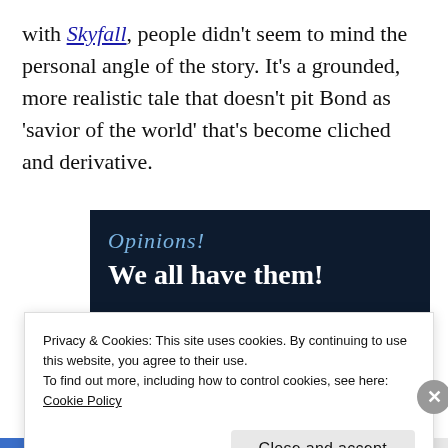with Skyfall, people didn't seem to mind the personal angle of the story. It's a grounded, more realistic tale that doesn't pit Bond as 'savior of the world' that's become cliched and derivative.
[Figure (infographic): Dark navy advertisement banner showing 'Opinions!' in blue italic text crossed out and 'We all have them!' in large bold white text, with a pink button and white circle at the bottom.]
Privacy & Cookies: This site uses cookies. By continuing to use this website, you agree to their use.
To find out more, including how to control cookies, see here: Cookie Policy
Close and accept